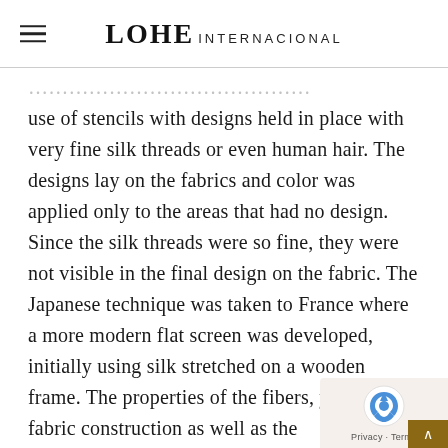LOHE INTERNACIONAL
use of stencils with designs held in place with very fine silk threads or even human hair. The designs lay on the fabrics and color was applied only to the areas that had no design. Since the silk threads were so fine, they were not visible in the final design on the fabric. The Japanese technique was taken to France where a more modern flat screen was developed, initially using silk stretched on a wooden frame. The properties of the fibers, yarns and fabric construction as well as the characteristics of the final printed fabrics have an impact on textile printing.
Since then, textile printing has evolved with modern production to the way we know it today with advances